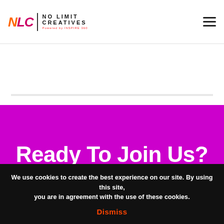NLC | NO LIMIT CREATIVES
Ready To Join Us?
Start the application process now!
We use cookies to create the best experience on our site. By using this site, you are in agreement with the use of these cookies.
Dismiss